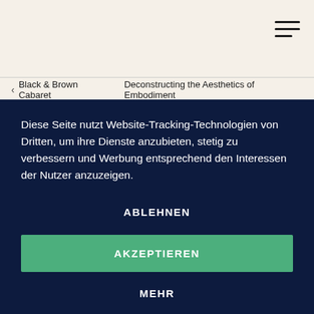[Figure (other): Hamburger menu icon (three horizontal lines) in top-right corner on cream background]
< Black & Brown Cabaret   Deconstructing the Aesthetics of Embodiment
Diese Seite nutzt Website-Tracking-Technologien von Dritten, um ihre Dienste anzubieten, stetig zu verbessern und Werbung entsprechend den Interessen der Nutzer anzuzeigen.
ABLEHNEN
AKZEPTIEREN
MEHR
Powered by usercentrics & eRecht24